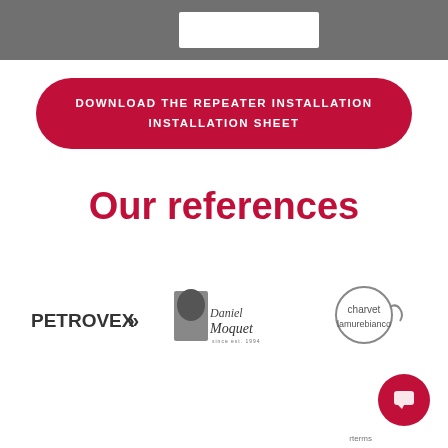[Figure (other): Top dark grey header bar with a white rectangular element]
DOWNLOAD THE REPEATER INSTALLATION INSTALLATION SHEET
Our references
[Figure (logo): PETROVEX logo with chevron arrows]
[Figure (logo): Daniel Moquet logo with tree graphic]
[Figure (logo): charvet lamurebianco circular logo]